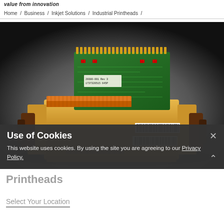value from innovation
Home / Business / Inkjet Solutions / Industrial Printheads /
[Figure (photo): Industrial inkjet printhead with green PCB circuit board on top, gold/yellow flexible cable connectors, barcodes/labels visible, dark background. The printhead has brown mounting brackets on the sides and fine nozzle array at the bottom.]
Use of Cookies
This website uses cookies. By using the site you are agreeing to our Privacy Policy.
Printheads
Select Your Location